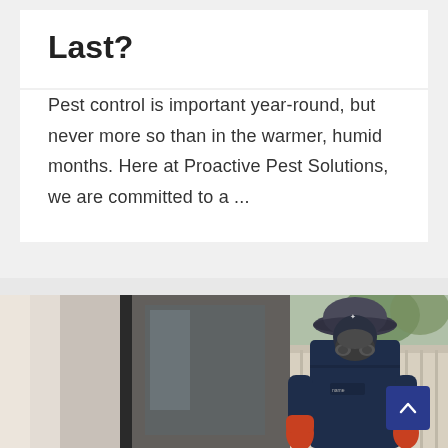Last?
Pest control is important year-round, but never more so than in the warmer, humid months. Here at Proactive Pest Solutions, we are committed to a ...
[Figure (photo): A pest control technician wearing a dark blue uniform, bucket hat, gas mask/respirator, and orange rubber gloves, walking outside near a building entrance. The background shows a fence and greenery.]